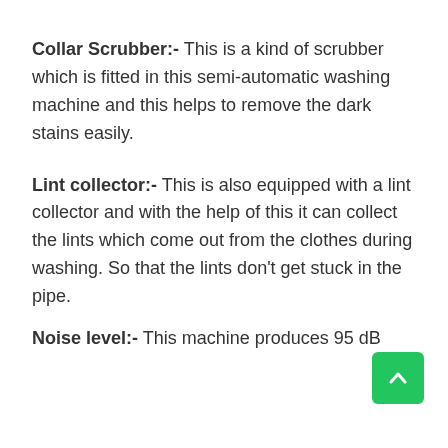Collar Scrubber:- This is a kind of scrubber which is fitted in this semi-automatic washing machine and this helps to remove the dark stains easily.
Lint collector:- This is also equipped with a lint collector and with the help of this it can collect the lints which come out from the clothes during washing. So that the lints don't get stuck in the pipe.
Noise level:- This machine produces 95 dB...